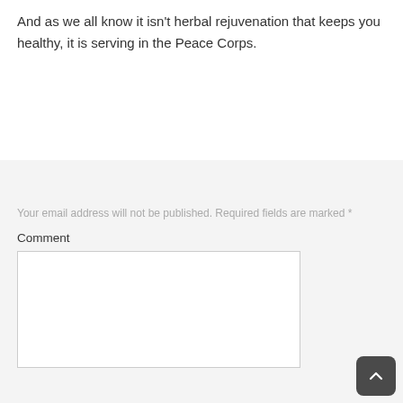And as we all know it isn't herbal rejuvenation that keeps you healthy, it is serving in the Peace Corps.
Your email address will not be published. Required fields are marked *
Comment